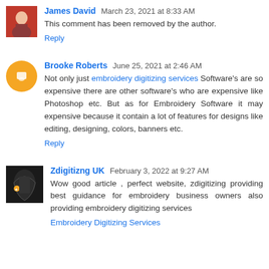James David  March 23, 2021 at 8:33 AM
This comment has been removed by the author.
Reply
Brooke Roberts  June 25, 2021 at 2:46 AM
Not only just embroidery digitizing services Software's are so expensive there are other software's who are expensive like Photoshop etc. But as for Embroidery Software it may expensive because it contain a lot of features for designs like editing, designing, colors, banners etc.
Reply
Zdigitizng UK  February 3, 2022 at 9:27 AM
Wow good article , perfect website, zdigitizing providing best guidance for embroidery business owners also providing embroidery digitizing services
Embroidery Digitizing Services